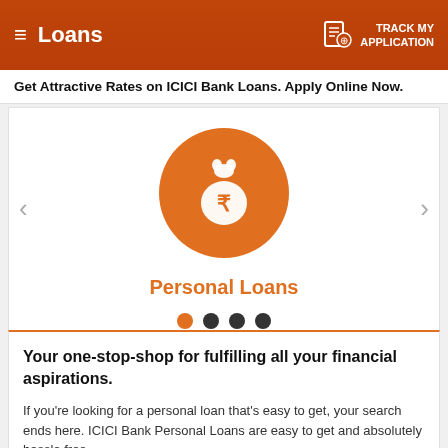Loans | TRACK MY APPLICATION
Get Attractive Rates on ICICI Bank Loans. Apply Online Now.
[Figure (illustration): Carousel slide showing an orange circle icon with a money bag with rupee symbol. Label reads Personal Loans. Navigation arrows on left and right. Four pagination dots below, first dot is orange (active), rest are dark.]
Your one-stop-shop for fulfilling all your financial aspirations.
If you're looking for a personal loan that's easy to get, your search ends here. ICICI Bank Personal Loans are easy to get and absolutely hassle free.
ICICI Bank Personal Loans Key Benefits